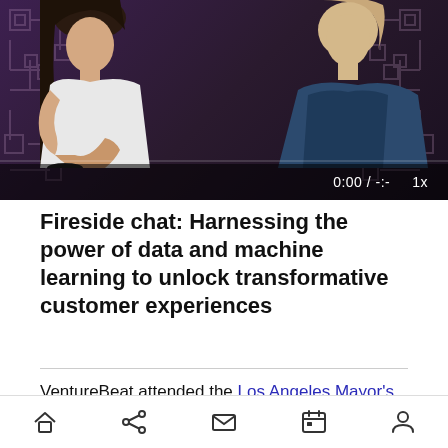[Figure (screenshot): Video player screenshot showing two women seated in chairs on a stage with a decorative circuit-board pattern backdrop. The video controls bar shows '0:00 / -:-' and '1x' playback speed.]
Fireside chat: Harnessing the power of data and machine learning to unlock transformative customer experiences
VentureBeat attended the Los Angeles Mayor's Council On Innovation And Industry (LAMCII) year-end meeting, which took place Wednesday morning at the Rubicon Project's West L.A.